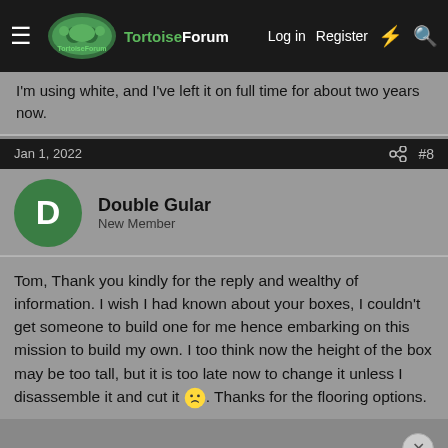TortoiseForum — Log in | Register
I'm using white, and I've left it on full time for about two years now.
Jan 1, 2022  #8
Double Gular
New Member
Tom, Thank you kindly for the reply and wealthy of information. I wish I had known about your boxes, I couldn't get someone to build one for me hence embarking on this mission to build my own. I too think now the height of the box may be too tall, but it is too late now to change it unless I disassemble it and cut it 😐. Thanks for the flooring options.